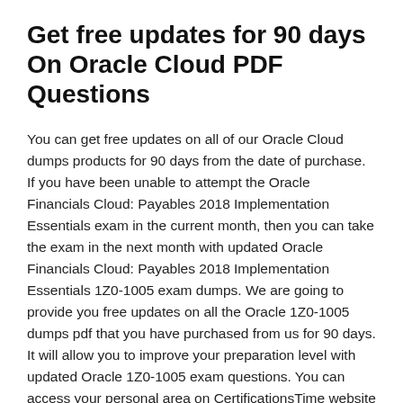Get free updates for 90 days On Oracle Cloud PDF Questions
You can get free updates on all of our Oracle Cloud dumps products for 90 days from the date of purchase. If you have been unable to attempt the Oracle Financials Cloud: Payables 2018 Implementation Essentials exam in the current month, then you can take the exam in the next month with updated Oracle Financials Cloud: Payables 2018 Implementation Essentials 1Z0-1005 exam dumps. We are going to provide you free updates on all the Oracle 1Z0-1005 dumps pdf that you have purchased from us for 90 days. It will allow you to improve your preparation level with updated Oracle 1Z0-1005 exam questions. You can access your personal area on CertificationsTime website and download the updated Oracle Cloud pdf questions for the preparation.